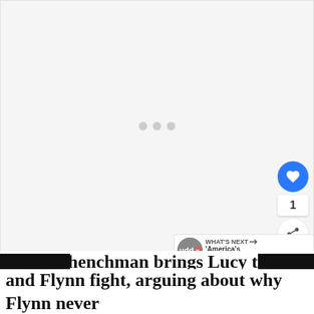[Figure (other): Large light gray image placeholder area with three loading dots centered]
[Figure (other): Floating UI buttons: blue heart/like button, count '1', share button, volume button on right side]
[Figure (other): What's Next panel showing avatar with 'uddy' text, label 'WHAT'S NEXT →', title "'America's Next Top..."]
Flynn's henchman brings Lucy to his
and Flynn fight, arguing about why Flynn never
[Figure (other): Advertisement bar at bottom: play button, Smoothie King logo, Dine-in checkmark, Curbside pickup checkmark, Delivery X, blue navigation arrow button, close X button]